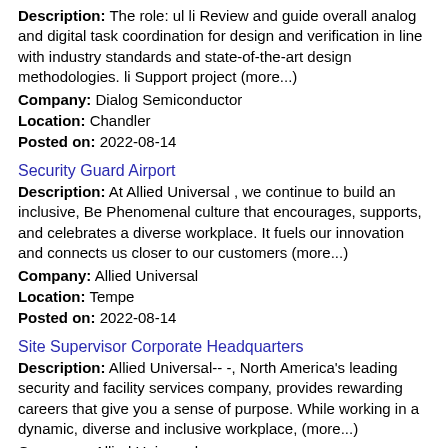Description: The role: ul li Review and guide overall analog and digital task coordination for design and verification in line with industry standards and state-of-the-art design methodologies. li Support project (more...) Company: Dialog Semiconductor Location: Chandler Posted on: 2022-08-14
Security Guard Airport
Description: At Allied Universal , we continue to build an inclusive, Be Phenomenal culture that encourages, supports, and celebrates a diverse workplace. It fuels our innovation and connects us closer to our customers (more...) Company: Allied Universal Location: Tempe Posted on: 2022-08-14
Site Supervisor Corporate Headquarters
Description: Allied Universal-- -, North America's leading security and facility services company, provides rewarding careers that give you a sense of purpose. While working in a dynamic, diverse and inclusive workplace, (more...) Company: Allied Universal Location: Tempe Posted on: 2022-08-15
Account Manager, Retention